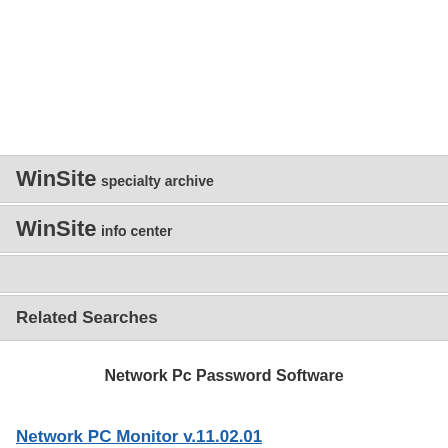WinSite specialty archive
WinSite info center
Related Searches
Network Pc Password Software
Network PC Monitor  v.11.02.01